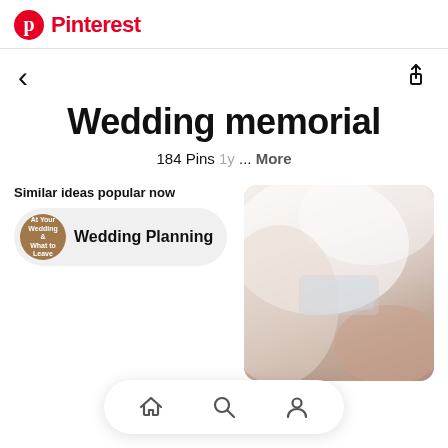Pinterest
Wedding memorial
184 Pins 1y ... More
Similar ideas popular now
Wedding Planning
[Figure (photo): Close-up photo of white wedding fabric/dress with lace details and a person's arm visible]
[Figure (screenshot): Bottom navigation bar with home, search, and profile icons]